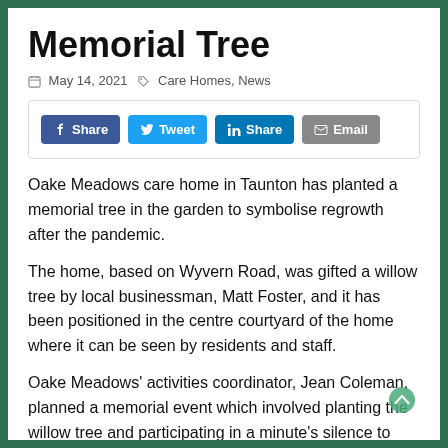Memorial Tree
May 14, 2021  Care Homes, News
[Figure (other): Social sharing buttons: Facebook Share, Twitter Tweet, LinkedIn Share, Email]
Oake Meadows care home in Taunton has planted a memorial tree in the garden to symbolise regrowth after the pandemic.
The home, based on Wyvern Road, was gifted a willow tree by local businessman, Matt Foster, and it has been positioned in the centre courtyard of the home where it can be seen by residents and staff.
Oake Meadows' activities coordinator, Jean Coleman, planned a memorial event which involved planting the willow tree and participating in a minute's silence to pay respects to show support and admiration to